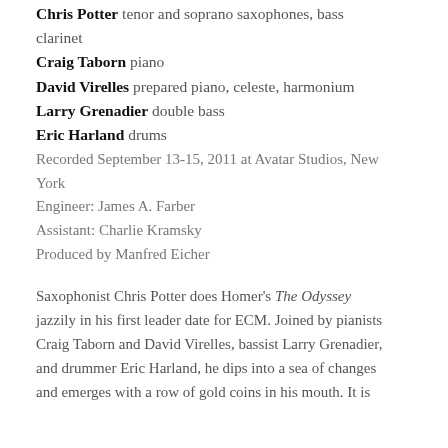Chris Potter tenor and soprano saxophones, bass clarinet
Craig Taborn piano
David Virelles prepared piano, celeste, harmonium
Larry Grenadier double bass
Eric Harland drums
Recorded September 13-15, 2011 at Avatar Studios, New York
Engineer: James A. Farber
Assistant: Charlie Kramsky
Produced by Manfred Eicher
Saxophonist Chris Potter does Homer's The Odyssey jazzily in his first leader date for ECM. Joined by pianists Craig Taborn and David Virelles, bassist Larry Grenadier, and drummer Eric Harland, he dips into a sea of changes and emerges with a row of gold coins in his mouth. It is